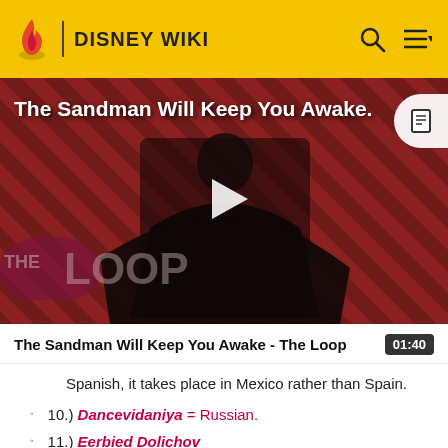DISNEY WIKI
[Figure (screenshot): Video thumbnail showing a dark-cloaked figure against a red and black diagonal striped background with THE LOOP branding. Video title overlay reads 'The Sandman Will Keep You Awake.' and a play button is centered.]
The Sandman Will Keep You Awake - The Loop  01:40
Spanish, it takes place in Mexico rather than Spain.
10.) Dancevidaniya = Russian.
11.) Eerbied Dolichov — Turkish